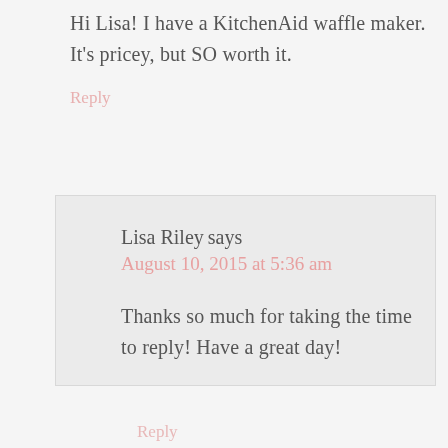Hi Lisa! I have a KitchenAid waffle maker. It's pricey, but SO worth it.
Reply
Lisa Riley says
August 10, 2015 at 5:36 am
Thanks so much for taking the time to reply! Have a great day!
Reply